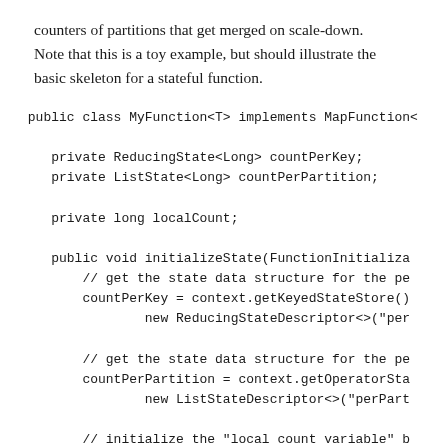counters of partitions that get merged on scale-down. Note that this is a toy example, but should illustrate the basic skeleton for a stateful function.
[Figure (other): Java code snippet showing a public class MyFunction<T> implementing MapFunction, with private fields ReducingState<Long> countPerKey, ListState<Long> countPerPartition, long localCount, and a public void initializeState method with comments and code for getting state data structures and initializing local count variable.]